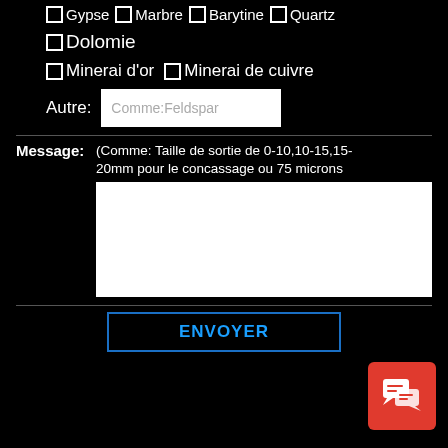☐Gypse ☐Marbre ☐Barytine ☐Quartz
☐Dolomie
☐Minerai d'or ☐Minerai de cuivre
Autre: [text field: Comme:Feldspar]
Message: (Comme: Taille de sortie de 0-10,10-15,15-20mm pour le concassage ou 75 microns
[message textarea]
ENVOYER